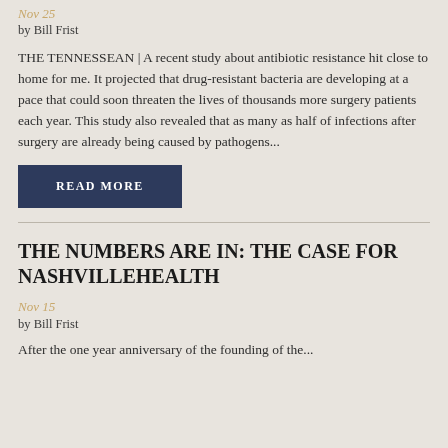Nov 25
by Bill Frist
THE TENNESSEAN | A recent study about antibiotic resistance hit close to home for me. It projected that drug-resistant bacteria are developing at a pace that could soon threaten the lives of thousands more surgery patients each year. This study also revealed that as many as half of infections after surgery are already being caused by pathogens...
READ MORE
THE NUMBERS ARE IN: THE CASE FOR NASHVILLEHEALTH
Nov 15
by Bill Frist
After the one year anniversary of the founding of the...